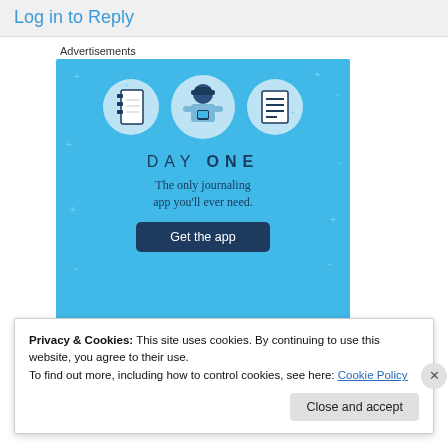Log in to Reply
Advertisements
[Figure (illustration): Day One journaling app advertisement. Blue background with sparkles, icons of a notebook and a list/document in circles, a cartoon person figure in the center holding a phone. Text: DAY ONE - The only journaling app you'll ever need. Button: Get the app.]
Privacy & Cookies: This site uses cookies. By continuing to use this website, you agree to their use.
To find out more, including how to control cookies, see here: Cookie Policy
Close and accept